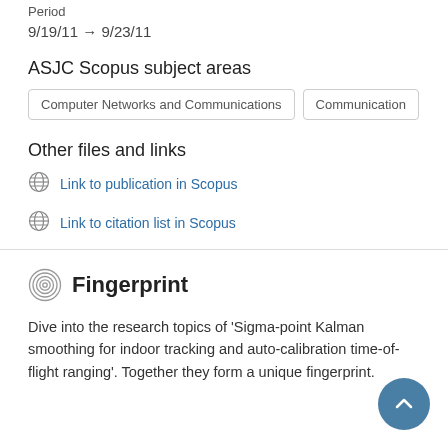Period
9/19/11 → 9/23/11
ASJC Scopus subject areas
Computer Networks and Communications
Communication
Other files and links
Link to publication in Scopus
Link to citation list in Scopus
Fingerprint
Dive into the research topics of 'Sigma-point Kalman smoothing for indoor tracking and auto-calibration time-of-flight ranging'. Together they form a unique fingerprint.